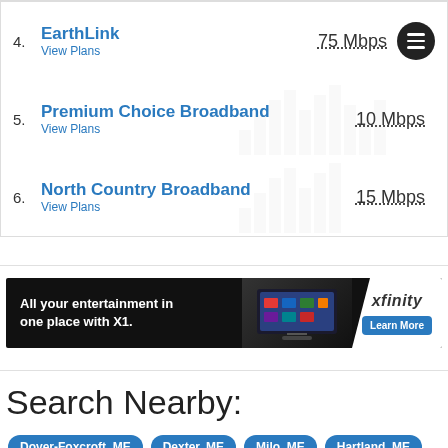4. EarthLink – View Plans – 75 Mbps
5. Premium Choice Broadband – View Plans – 10 Mbps
6. North Country Broadband – View Plans – 15 Mbps
[Figure (infographic): Xfinity advertisement banner: 'All your entertainment in one place with X1.' with Learn More button]
Search Nearby:
Dover-Foxcroft, ME
Dexter, ME
Milo, ME
Hartland, ME
Greenville, ME
Newport, ME
Bingham, ME
Pittsfield, ME